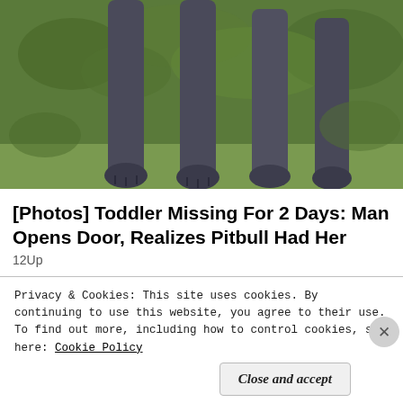[Figure (photo): Close-up photo of a large dog's legs and paws standing on grass/ground, viewed from below, with green vegetation in background]
[Photos] Toddler Missing For 2 Days: Man Opens Door, Realizes Pitbull Had Her
12Up
[Figure (photo): A blonde woman holding a cane or walking stick, partially visible, with a purple/maroon background]
Privacy & Cookies: This site uses cookies. By continuing to use this website, you agree to their use.
To find out more, including how to control cookies, see here: Cookie Policy
Close and accept